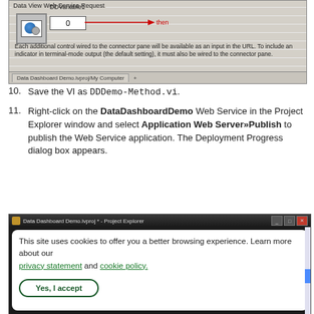[Figure (screenshot): LabVIEW VI block diagram screenshot showing a web service request node with DDVariable1 input box set to 0, with a red arrow labeled 'then here', and caption text about connector pane wiring. Status bar shows 'Data Dashboard Demo.lvproj/My Computer'.]
10. Save the VI as DDDemo-Method.vi.
11. Right-click on the DataDashboardDemo Web Service in the Project Explorer window and select Application Web Server»Publish to publish the Web Service application. The Deployment Progress dialog box appears.
[Figure (screenshot): Screenshot of Data Dashboard Demo.lvproj - Project Explorer window (dark title bar), overlaid by a cookie consent dialog: 'This site uses cookies to offer you a better browsing experience. Learn more about our privacy statement and cookie policy.' with a 'Yes, I accept' button.]